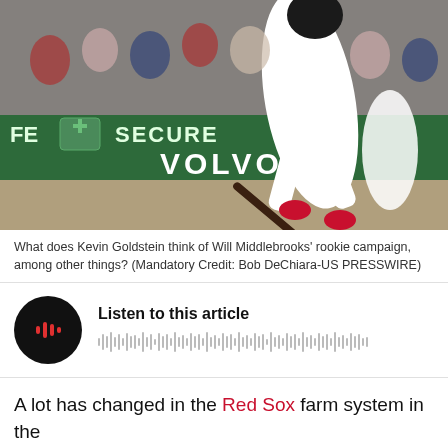[Figure (photo): Baseball player in white Boston Red Sox uniform swinging a bat at Fenway Park, with a crowd in the background and a green wall with 'SECURE' and 'VOLVO' advertisements visible.]
What does Kevin Goldstein think of Will Middlebrooks' rookie campaign, among other things? (Mandatory Credit: Bob DeChiara-US PRESSWIRE)
[Figure (other): Audio player widget with dark circular play button icon showing red sound wave bars and a waveform visualization, labeled 'Listen to this article']
A lot has changed in the Red Sox farm system in the